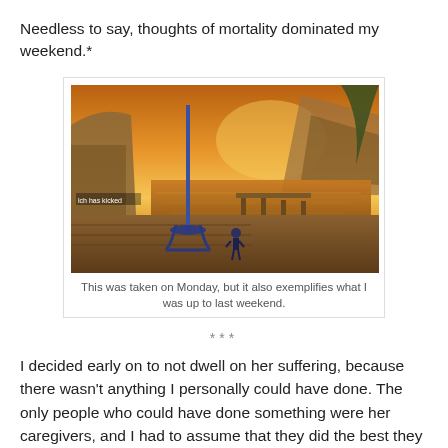Needless to say, thoughts of mortality dominated my weekend.*
[Figure (screenshot): A video game screenshot (World of Warcraft style) showing a harbor scene at sunset with an anchor, a dock, water, cliffs, and a character standing near the water's edge.]
This was taken on Monday, but it also exemplifies what I was up to last weekend.
***
I decided early on to not dwell on her suffering, because there wasn't anything I personally could have done. The only people who could have done something were her caregivers, and I had to assume that they did the best they could with